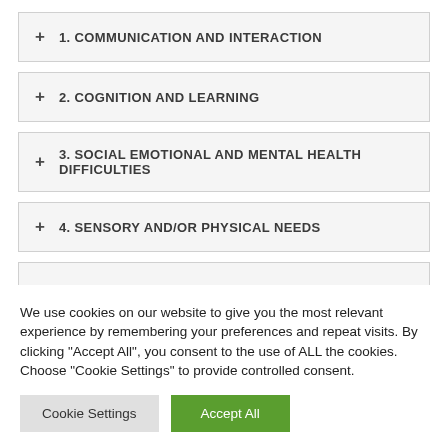+ 1. COMMUNICATION AND INTERACTION
+ 2. COGNITION AND LEARNING
+ 3. SOCIAL EMOTIONAL AND MENTAL HEALTH DIFFICULTIES
+ 4. SENSORY AND/OR PHYSICAL NEEDS
+ FAMILY AND PUPIL ENGAGEMENT
We use cookies on our website to give you the most relevant experience by remembering your preferences and repeat visits. By clicking "Accept All", you consent to the use of ALL the cookies. Choose "Cookie Settings" to provide controlled consent.